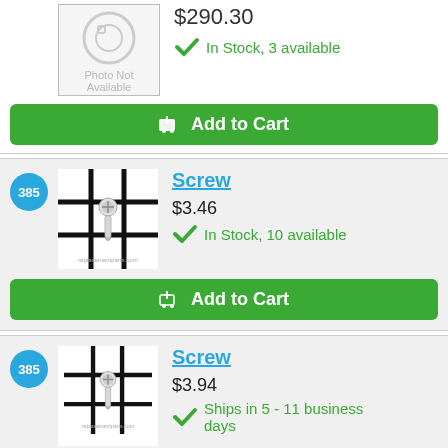$290.30
In Stock, 3 available
Add to Cart
385
Screw
$3.46
In Stock, 10 available
Add to Cart
385
Screw
$3.94
Ships in 5 - 11 business days